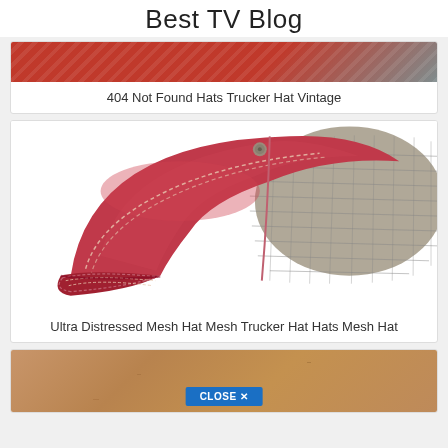Best TV Blog
[Figure (photo): Red trucker hat with vintage distressed style, partially visible at top]
404 Not Found Hats Trucker Hat Vintage
[Figure (photo): Red and gray mesh distressed trucker hat, side view showing mesh back panel]
Ultra Distressed Mesh Hat Mesh Trucker Hat Hats Mesh Hat
[Figure (photo): Cork-textured hat with close button overlay at bottom]